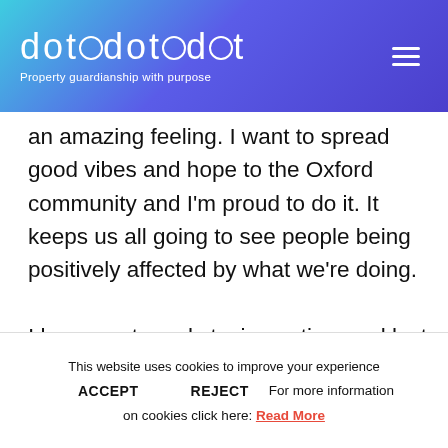dotdotdot — Property guardianship with purpose
an amazing feeling. I want to spread good vibes and hope to the Oxford community and I'm proud to do it. It keeps us all going to see people being positively affected by what we're doing.

I love sports and staying active, and last June I
This website uses cookies to improve your experience
ACCEPT   REJECT   For more information on cookies click here: Read More